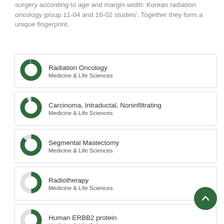surgery according to age and margin width: Korean radiation oncology group 11-04 and 16-02 studies'. Together they form a unique fingerprint.
[Figure (infographic): Donut chart icon ~100% fill for Radiation Oncology, Medicine & Life Sciences]
Radiation Oncology
Medicine & Life Sciences
[Figure (infographic): Donut chart icon ~95% fill for Carcinoma, Intraductal, Noninfiltrating, Medicine & Life Sciences]
Carcinoma, Intraductal, Noninfiltrating
Medicine & Life Sciences
[Figure (infographic): Donut chart icon ~90% fill for Segmental Mastectomy, Medicine & Life Sciences]
Segmental Mastectomy
Medicine & Life Sciences
[Figure (infographic): Donut chart icon ~50% fill for Radiotherapy, Medicine & Life Sciences]
Radiotherapy
Medicine & Life Sciences
[Figure (infographic): Donut chart icon ~40% fill for Human ERBB2 protein, Medicine & Life Sciences]
Human ERBB2 protein
Medicine & Life Sciences
[Figure (infographic): Donut chart icon partial fill for Recurrence]
Recurrence